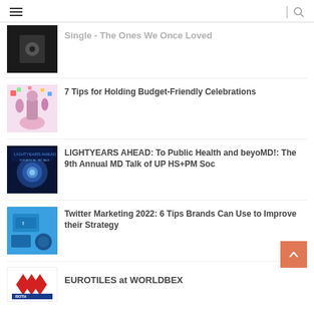Single - The Ones We Once Loved
7 Tips for Holding Budget-Friendly Celebrations
LIGHTYEARS AHEAD: To Public Health and beyoMD!: The 9th Annual MD Talk of UP HS+PM Soc
Twitter Marketing 2022: 6 Tips Brands Can Use to Improve their Strategy
EUROTILES at WORLDBEX